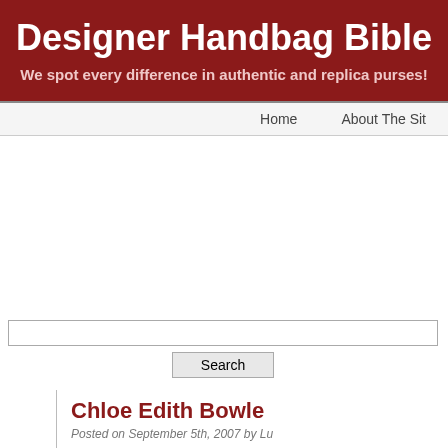Designer Handbag Bible
We spot every difference in authentic and replica purses!
Home   About The Sit
Search
Chloe Edith Bowle
Posted on September 5th, 2007 by Lu